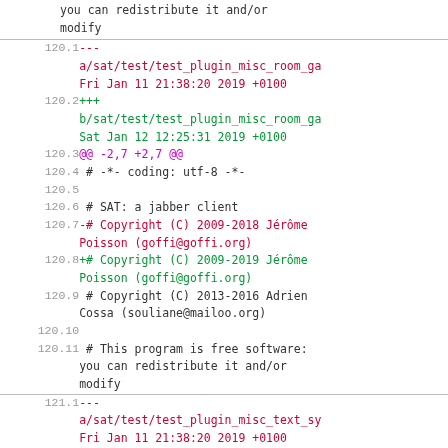diff code view showing changes to sat/test files
| line | content |
| --- | --- |
|  | you can redistribute it and/or modify |
| 120.1 | --- a/sat/test/test_plugin_misc_room_ga Fri Jan 11 21:38:20 2019 +0100 |
| 120.2 | +++ b/sat/test/test_plugin_misc_room_ga Sat Jan 12 12:25:31 2019 +0100 |
| 120.3 | @@ -2,7 +2,7 @@ |
| 120.4 |  # -*- coding: utf-8 -*- |
| 120.5 |  |
| 120.6 |  # SAT: a jabber client |
| 120.7 | -# Copyright (C) 2009-2018 Jérôme Poisson (goffi@goffi.org) |
| 120.8 | +# Copyright (C) 2009-2019 Jérôme Poisson (goffi@goffi.org) |
| 120.9 |  # Copyright (C) 2013-2016 Adrien Cossa (souliane@mailoo.org) |
| 120.10 |  |
| 120.11 |  # This program is free software: you can redistribute it and/or modify |
| 121.1 | --- a/sat/test/test_plugin_misc_text_sy Fri Jan 11 21:38:20 2019 +0100 |
| 121.2 | +++ b/sat/test/test_plugin_misc_text_sy Sat Jan 12 12:25:31 2019 +0100 |
| 121.3 | @@ -2,7 +2,7 @@ |
| 121.4 |  # -*- coding: utf-8 -*- |